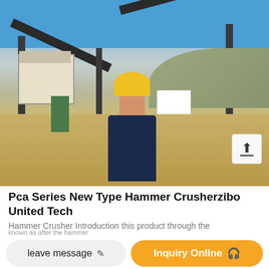[Figure (photo): Photo of a man in a yellow hard hat and dark blue coveralls standing at an outdoor mining/crushing site with conveyor belts, a crusher machine, and industrial equipment. Another worker in plaid shirt visible in background. Blue sky and hills in background.]
Pca Series New Type Hammer Crusherzibo United Tech
Hammer Crusher Introduction this product through the
leave message
Inquiry Online